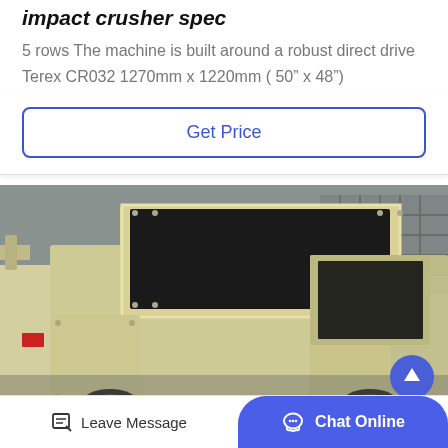impact crusher spec
5 rows The machine is built around a robust direct drive Terex CR032 1270mm x 1220mm ( 50" x 48")
Get Price
[Figure (photo): Photograph of a large yellow/cream impact crusher machine in an industrial setting, showing the feed hopper opening and main body with bolted panels. Industrial building in background.]
Leave Message
Chat Online